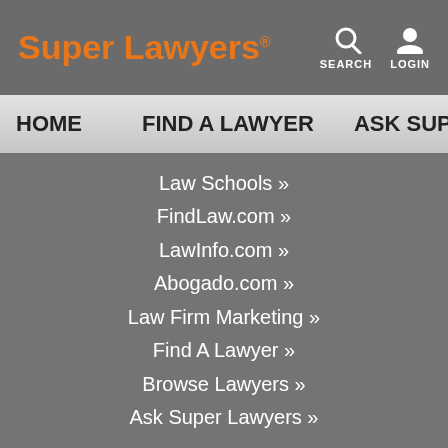Super Lawyers
Law Schools »
FindLaw.com »
LawInfo.com »
Abogado.com »
Law Firm Marketing »
Find A Lawyer »
Browse Lawyers »
Ask Super Lawyers »